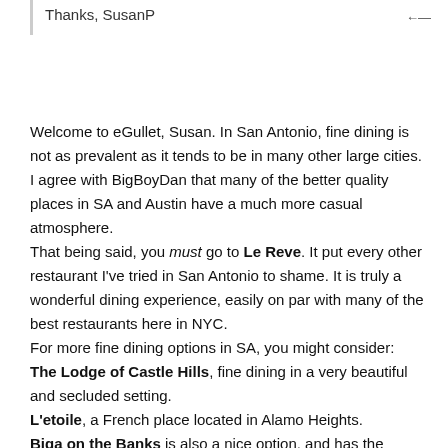Thanks, SusanP
Welcome to eGullet, Susan. In San Antonio, fine dining is not as prevalent as it tends to be in many other large cities. I agree with BigBoyDan that many of the better quality places in SA and Austin have a much more casual atmosphere.
That being said, you must go to Le Reve. It put every other restaurant I've tried in San Antonio to shame. It is truly a wonderful dining experience, easily on par with many of the best restaurants here in NYC.
For more fine dining options in SA, you might consider:
The Lodge of Castle Hills, fine dining in a very beautiful and secluded setting.
L'etoile, a French place located in Alamo Heights.
Biga on the Banks is also a nice option, and has the advantage of being located on the river, if you are curious to check out the Riverwalk a bit.
Bistro Time for the city's best crab cakes.
Not fine dining, but truly a special place that kind of just says "Texas" for me is Liberty Bar. Great food in a laid...